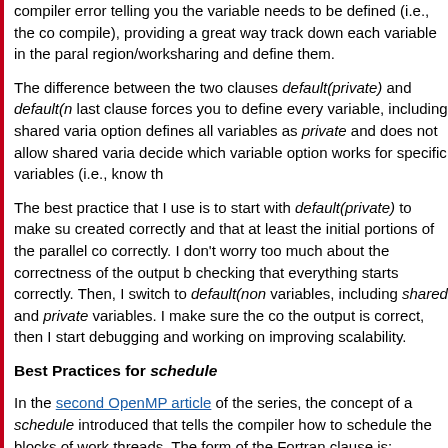compiler error telling you the variable needs to be defined (i.e., the compile), providing a great way track down each variable in the parallel region/worksharing and define them.
The difference between the two clauses default(private) and default(none): last clause forces you to define every variable, including shared variables. The option defines all variables as private and does not allow shared variables. decide which variable option works for specific variables (i.e., know the)
The best practice that I use is to start with default(private) to make sure created correctly and that at least the initial portions of the parallel code run correctly. I don't worry too much about the correctness of the output but checking that everything starts correctly. Then, I switch to default(none) for all variables, including shared and private variables. I make sure the code compiles the output is correct, then I start debugging and working on improving scalability.
Best Practices for schedule
In the second OpenMP article of the series, the concept of a schedule clause was introduced that tells the compiler how to schedule the blocks of work across the threads. The form of the Fortran clause is: